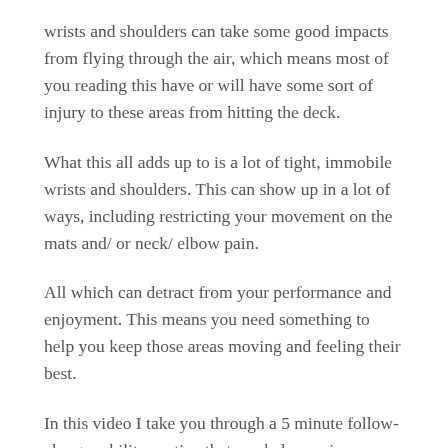wrists and shoulders can take some good impacts from flying through the air, which means most of you reading this have or will have some sort of injury to these areas from hitting the deck.
What this all adds up to is a lot of tight, immobile wrists and shoulders. This can show up in a lot of ways, including restricting your movement on the mats and/ or neck/ elbow pain.
All which can detract from your performance and enjoyment. This means you need something to help you keep those areas moving and feeling their best.
In this video I take you through a 5 minute follow-along mobility routine that can help you improve your wrist and shoulder mobility. Try using it 3-5 times a week for the next